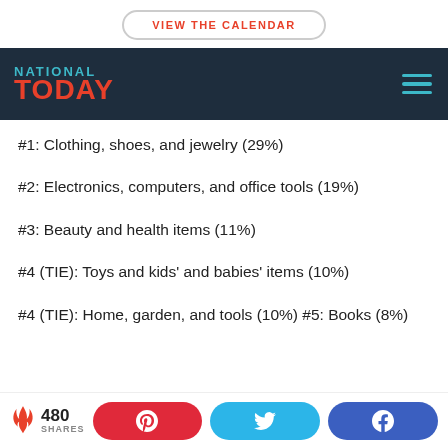VIEW THE CALENDAR
NATIONAL TODAY
#1: Clothing, shoes, and jewelry (29%)
#2: Electronics, computers, and office tools (19%)
#3: Beauty and health items (11%)
#4 (TIE): Toys and kids' and babies' items (10%)
#4 (TIE): Home, garden, and tools (10%) #5: Books (8%)
480 SHARES